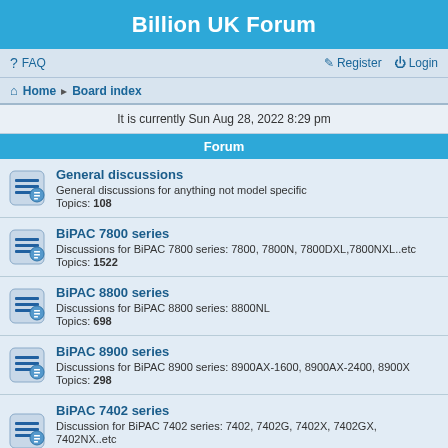Billion UK Forum
FAQ   Register   Login
Home · Board index
It is currently Sun Aug 28, 2022 8:29 pm
Forum
General discussions
General discussions for anything not model specific
Topics: 108
BiPAC 7800 series
Discussions for BiPAC 7800 series: 7800, 7800N, 7800DXL,7800NXL..etc
Topics: 1522
BiPAC 8800 series
Discussions for BiPAC 8800 series: 8800NL
Topics: 698
BiPAC 8900 series
Discussions for BiPAC 8900 series: 8900AX-1600, 8900AX-2400, 8900X
Topics: 298
BiPAC 7402 series
Discussion for BiPAC 7402 series: 7402, 7402G, 7402X, 7402GX, 7402NX..etc
Topics: 54